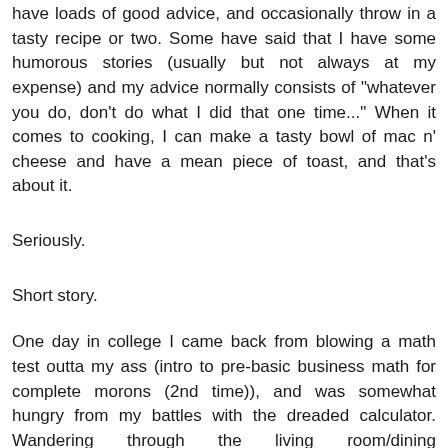have loads of good advice, and occasionally throw in a tasty recipe or two. Some have said that I have some humorous stories (usually but not always at my expense) and my advice normally consists of "whatever you do, don't do what I did that one time..." When it comes to cooking, I can make a tasty bowl of mac n' cheese and have a mean piece of toast, and that's about it.
Seriously.
Short story.
One day in college I came back from blowing a math test outta my ass (intro to pre-basic business math for complete morons (2nd time)), and was somewhat hungry from my battles with the dreaded calculator. Wandering through the living room/dining room/computer room/spare bedroom and into the kitchen, I opened up the fridge to reveal a 2 month old bowl of potato salad, some beers, one apple core, and 14 packages of honey. (Ah, the bachelor life). The freezer